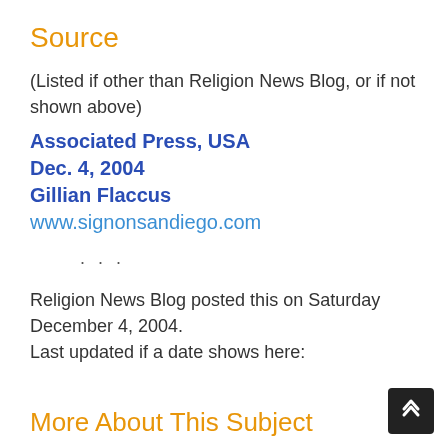Source
(Listed if other than Religion News Blog, or if not shown above)
Associated Press, USA
Dec. 4, 2004
Gillian Flaccus
www.signonsandiego.com
· · ·
Religion News Blog posted this on Saturday December 4, 2004.
Last updated if a date shows here:
More About This Subject